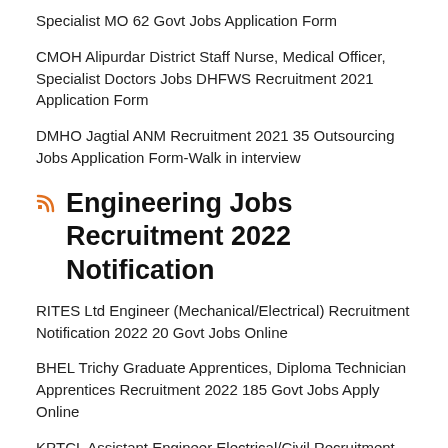Specialist MO 62 Govt Jobs Application Form
CMOH Alipurdar District Staff Nurse, Medical Officer, Specialist Doctors Jobs DHFWS Recruitment 2021 Application Form
DMHO Jagtial ANM Recruitment 2021 35 Outsourcing Jobs Application Form-Walk in interview
Engineering Jobs Recruitment 2022 Notification
RITES Ltd Engineer (Mechanical/Electrical) Recruitment Notification 2022 20 Govt Jobs Online
BHEL Trichy Graduate Apprentices, Diploma Technician Apprentices Recruitment 2022 185 Govt Jobs Apply Online
KPTCL Assistant Engineer Electrical/Civil Recruitment Notification 2022 533 AE Govt Jobs Online Application